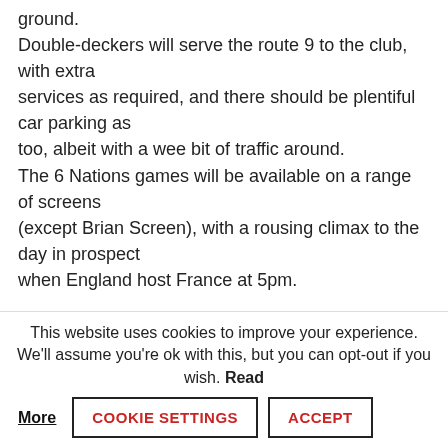ground.
Double-deckers will serve the route 9 to the club, with extra
services as required, and there should be plentiful car parking as
too, albeit with a wee bit of traffic around.
The 6 Nations games will be available on a range of screens
(except Brian Screen), with a rousing climax to the day in prospect
when England host France at 5pm.
See HERE for further
details of match-day at St Peter
Worcester: a potted history
Founded: 1871, when their first game was against the
This website uses cookies to improve your experience. We'll assume you're ok with this, but you can opt-out if you wish. Read More
COOKIE SETTINGS
ACCEPT